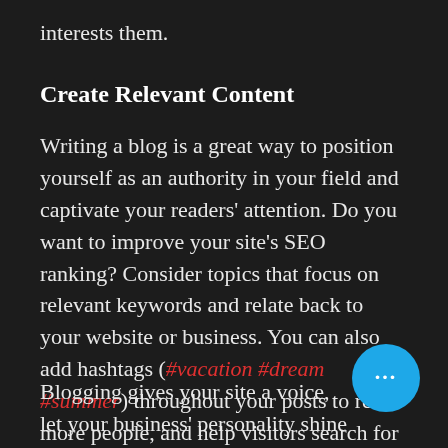interests them.
Create Relevant Content
Writing a blog is a great way to position yourself as an authority in your field and captivate your readers' attention. Do you want to improve your site's SEO ranking? Consider topics that focus on relevant keywords and relate back to your website or business. You can also add hashtags (#vacation #dream #summer) throughout your posts to reach more people, and help visitors search for relevant content.
Blogging gives your site a voice, let your business' personality shine